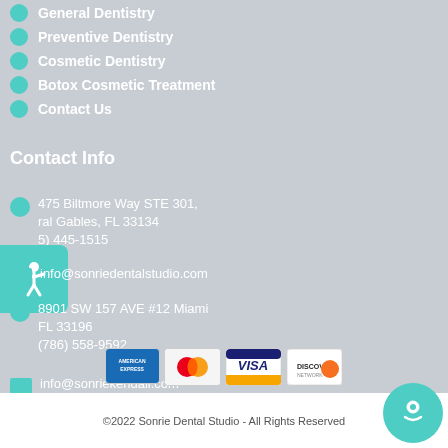General Dentistry
Preventive Dentistry
Cosmetic Dentistry
Botox Cosmetic Treatment
Contact Us
Contact Info
475 Biltmore Way STE 301, Coral Gables, FL 33134
(305) 445-1515
info@sonriedentalstudio.com
8901 SW 157 AVE #12 Miami FL 33196
(786) 558-9592
info@sonriekendall.com
[Figure (other): Payment card logos: American Express, MasterCard, Visa, Discover]
©2022 Sonrie Dental Studio - All Rights Reserved